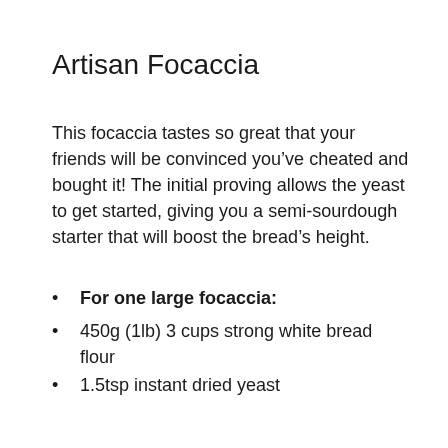Artisan Focaccia
This focaccia tastes so great that your friends will be convinced you’ve cheated and bought it! The initial proving allows the yeast to get started, giving you a semi-sourdough starter that will boost the bread’s height.
For one large focaccia:
450g (1lb) 3 cups strong white bread flour
1.5tsp instant dried yeast